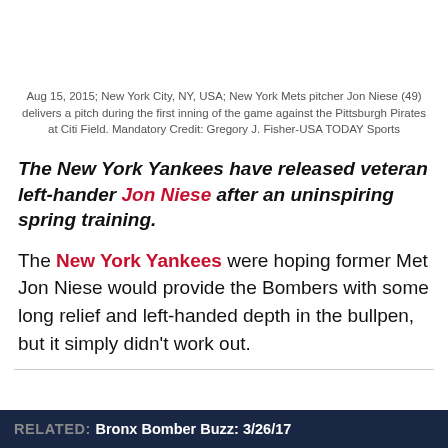Aug 15, 2015; New York City, NY, USA; New York Mets pitcher Jon Niese (49) delivers a pitch during the first inning of the game against the Pittsburgh Pirates at Citi Field. Mandatory Credit: Gregory J. Fisher-USA TODAY Sports
The New York Yankees have released veteran left-hander Jon Niese after an uninspiring spring training.
The New York Yankees were hoping former Met Jon Niese would provide the Bombers with some long relief and left-handed depth in the bullpen, but it simply didn't work out.
RELATED: Bronx Bomber Buzz: 3/26/17